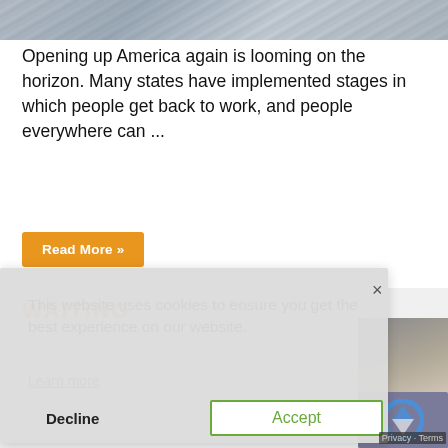[Figure (photo): Partially visible image at top of page, appears to show a textured surface with diagonal lines, in grey tones.]
Opening up America again is looming on the horizon. Many states have implemented stages in which people get back to work, and people everywhere can ...
Read More »
WAITING
This website uses cookies to ensure you get the best experience on our website.
Learn more
Decline
Accept
Privacy · Terms